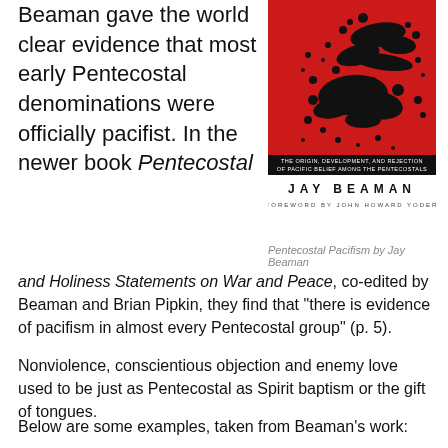Beaman gave the world clear evidence that most early Pentecostal denominations were officially pacifist. In the newer book Pentecostal
[Figure (photo): Book cover of 'Pentecostal Pacifism' by Jay Beaman, red background with black ink splatter, subtitle: THE ORIGIN, DEVELOPMENT, AND REJECTION OF PACIFIC BELIEF AMONG THE PENTECOSTALS. Below the cover image: JAY BEAMAN, FOREWORD BY JOHN HOWARD YODER]
Pentecostal Pacifism by Jay Beaman
and Holiness Statements on War and Peace, co-edited by Beaman and Brian Pipkin, they find that "there is evidence of pacifism in almost every Pentecostal group" (p. 5).
Nonviolence, conscientious objection and enemy love used to be just as Pentecostal as Spirit baptism or the gift of tongues.
Below are some examples, taken from Beaman's work: